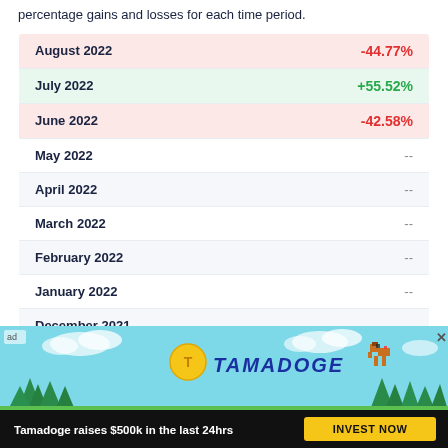percentage gains and losses for each time period.
| Period | Change |
| --- | --- |
| August 2022 | -44.77% |
| July 2022 | +55.52% |
| June 2022 | -42.58% |
| May 2022 | -- |
| April 2022 | -- |
| March 2022 | -- |
| February 2022 | -- |
| January 2022 | -- |
| December 2021 | -- |
| November 2021 | -- |
Show more
[Figure (illustration): Tamadoge advertisement banner with teal sky background, pixel art dog, coin logo, trees, clouds. Text: 'Tamadoge raises $500k in the last 24hrs' with 'INVEST NOW' button.]